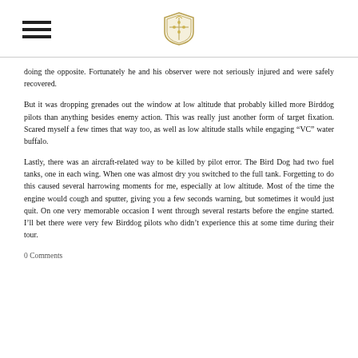[hamburger menu icon] [logo/crest]
doing the opposite.  Fortunately he and his observer were not seriously injured and were safely recovered.
But it was dropping grenades out the window at low altitude that probably killed more Birddog pilots than anything besides enemy action.  This was really just another form of target fixation.  Scared myself a few times that way too, as well as low altitude stalls while engaging “VC” water buffalo.
Lastly, there was an aircraft-related way to be killed by pilot error.  The Bird Dog had two fuel tanks, one in each wing.  When one was almost dry you switched to the full tank.  Forgetting to do this caused several harrowing moments for me, especially at low altitude.  Most of the time the engine would cough and sputter, giving you a few seconds warning, but sometimes it would just quit.  On one very memorable occasion I went through several restarts before the engine started.  I’ll bet there were very few Birddog pilots who didn’t experience this at some time during their tour.
0 Comments